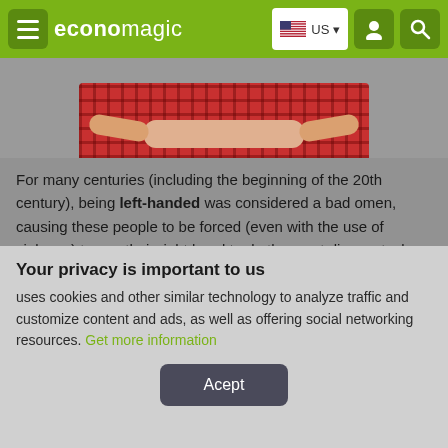economagic — US
[Figure (photo): Partial photo of a person in a red plaid shirt with hands visible, cropped at upper portion]
For many centuries (including the beginning of the 20th century), being left-handed was considered a bad omen, causing these people to be forced (even with the use of violence) to use their right hand to do the most diverse tasks.
Even the fact that a person was clumsy was justified by the statement that, that person
Your privacy is important to us
uses cookies and other similar technology to analyze traffic and customize content and ads, as well as offering social networking resources. Get more information
Acept